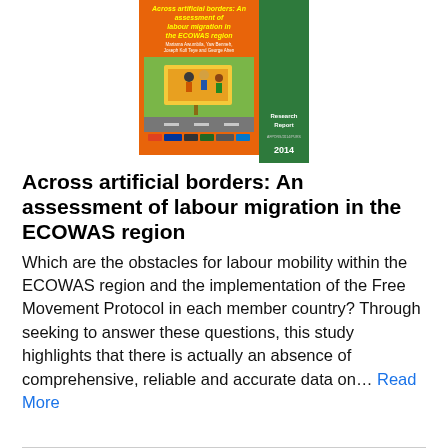[Figure (photo): Book cover of 'Across artificial borders: An assessment of labour migration in the ECOWAS region' Research Report 2014. Orange and green cover with a billboard image and logos at the bottom.]
Across artificial borders: An assessment of labour migration in the ECOWAS region
Which are the obstacles for labour mobility within the ECOWAS region and the implementation of the Free Movement Protocol in each member country? Through seeking to answer these questions, this study highlights that there is actually an absence of comprehensive, reliable and accurate data on… Read More